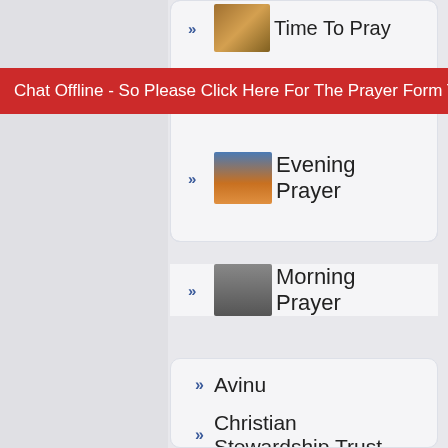Time To Pray
Chat Offline - So Please Click Here For The Prayer Form To Se
Evening Prayer
Morning Prayer
Avinu
Christian Stewardship Trust
501c3 Corporate Church
Help To Stop Foreclosure
Webyellownpages Christian